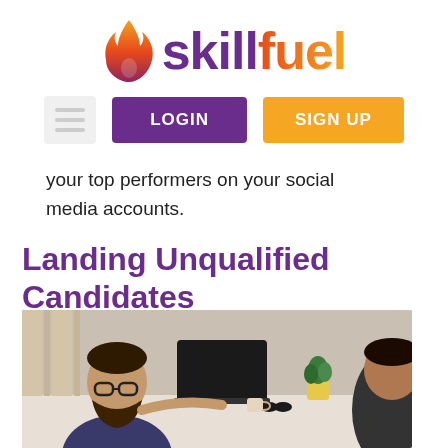[Figure (logo): Skillfuel logo with flame icon and stylized text 'skillfuel']
[Figure (other): Navigation bar with hamburger menu icon, LOGIN button (dark purple), and SIGN UP button (orange)]
your top performers on your social media accounts.
Landing Unqualified Candidates
[Figure (photo): Photo of a man with glasses and beard sitting at a desk with a laptop, speaking to someone across the table. A small potted plant is visible in the background.]